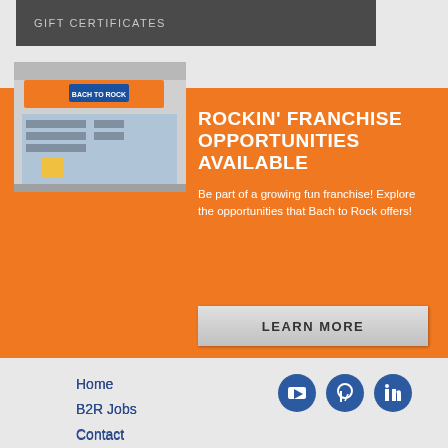GIFT CERTIFICATES
[Figure (photo): Exterior photo of a Bach to Rock music school storefront]
ROCKIN' FRANCHISE OPPORTUNITIES AVAILABLE
Be part of a growing fun franchise! Explore the opportunities that Bach to Rock offers!
LEARN MORE
Home
B2R Jobs
Contact
MyB2R Login
[Figure (other): Social media icons: YouTube, Pinterest, LinkedIn]